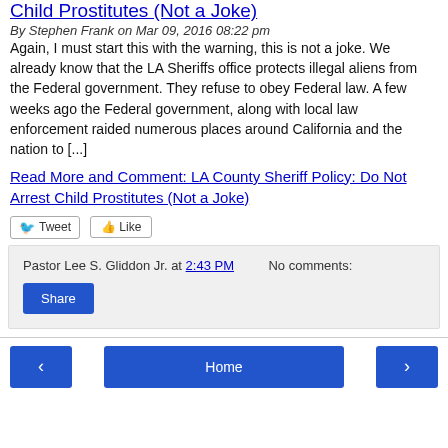Child Prostitutes (Not a Joke)
By Stephen Frank on Mar 09, 2016 08:22 pm
Again, I must start this with the warning, this is not a joke. We already know that the LA Sheriffs office protects illegal aliens from the Federal government. They refuse to obey Federal law. A few weeks ago the Federal government, along with local law enforcement raided numerous places around California and the nation to [...]
Read More and Comment: LA County Sheriff Policy: Do Not Arrest Child Prostitutes (Not a Joke)
[Figure (other): Tweet and Like social sharing buttons]
Pastor Lee S. Gliddon Jr. at 2:43 PM   No comments:
Share
Home navigation buttons with previous, Home, and next arrows